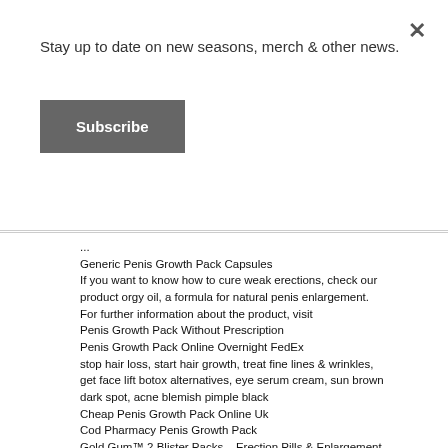Stay up to date on new seasons, merch & other news.
Subscribe
...
Generic Penis Growth Pack Capsules
If you want to know how to cure weak erections, check our product orgy oil, a formula for natural penis enlargement. For further information about the product, visit
Penis Growth Pack Without Prescription
Penis Growth Pack Online Overnight FedEx
stop hair loss, start hair growth, treat fine lines & wrinkles, get face lift botox alternatives, eye serum cream, sun brown dark spot, acne blemish pimple black
Cheap Penis Growth Pack Online Uk
Cod Pharmacy Penis Growth Pack
Gold Gum™ 2 Blister Packs – Erection Pills & Enlargement
Penis Growth Pack Now
If you want to increase your penis size of course, Herbal